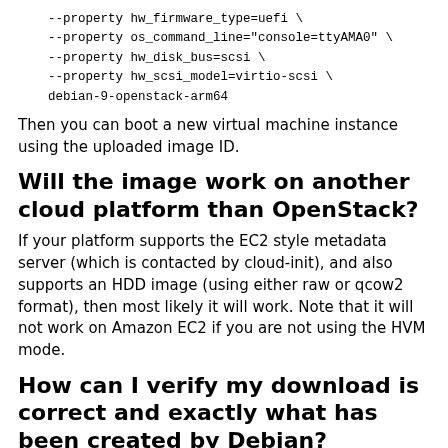--property hw_firmware_type=uefi \
    --property os_command_line="console=ttyAMA0" \
    --property hw_disk_bus=scsi \
    --property hw_scsi_model=virtio-scsi \
    debian-9-openstack-arm64
Then you can boot a new virtual machine instance using the uploaded image ID.
Will the image work on another cloud platform than OpenStack?
If your platform supports the EC2 style metadata server (which is contacted by cloud-init), and also supports an HDD image (using either raw or qcow2 format), then most likely it will work. Note that it will not work on Amazon EC2 if you are not using the HVM mode.
How can I verify my download is correct and exactly what has been created by Debian?
There are files here (SHA1SUMS, SHA256SUMS, etc.) which contain checksums of the images. These checksum files are also